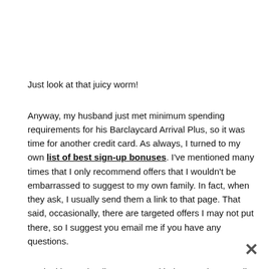Just look at that juicy worm!
Anyway, my husband just met minimum spending requirements for his Barclaycard Arrival Plus, so it was time for another credit card. As always, I turned to my own list of best sign-up bonuses. I've mentioned many times that I only recommend offers that I wouldn't be embarrassed to suggest to my own family. In fact, when they ask, I usually send them a link to that page. That said, occasionally, there are targeted offers I may not put there, so I suggest you email me if you have any questions.
So, looking at that list, I narrowed it down to three credit cards: Capital One Venture Rewards, Chase British Airways Visa Signature card and Chase Southwest Rapid Rewards Premier. The first one...